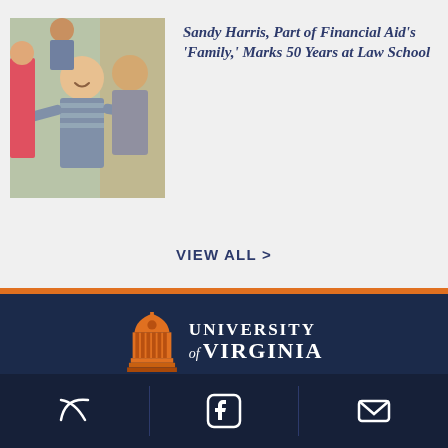[Figure (photo): A woman in a striped shirt laughing and dancing with a man at an indoor social event]
Sandy Harris, Part of Financial Aid’s ‘Family,’ Marks 50 Years at Law School
VIEW ALL >
[Figure (logo): University of Virginia official logo with orange Rotunda icon and white text]
[Figure (infographic): Social media icons row: Facebook, Twitter, Instagram, YouTube]
[Figure (infographic): Bottom share bar with Twitter, Facebook, and email envelope icons]